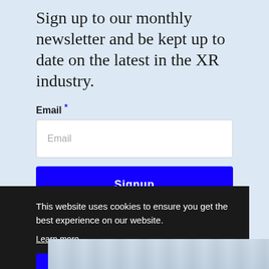Sign up to our monthly newsletter and be kept up to date on the latest in the XR industry.
Email *
Email
Signup
This website uses cookies to ensure you get the best experience on our website.
Learn more
Got it!
[Figure (photo): Partial view of an indoor scene, possibly a train station or transit area, visible at the bottom of the page.]